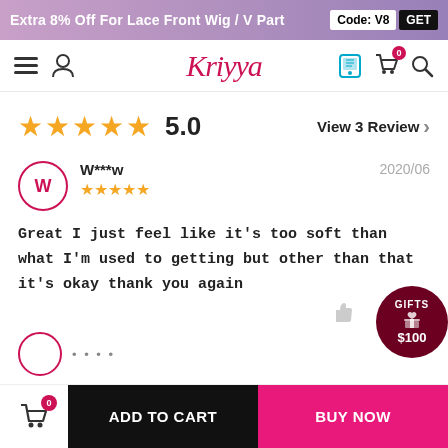Extra 8% Off For Lace Front Wig / V Part  Code: V8  GET
[Figure (screenshot): Kriyya e-commerce website navigation bar with hamburger menu, user icon, Kriyya logo, phone icon, cart icon with badge 0, and search icon]
★★★★★  5.0   View 3 Review
W***w  2020/06  ★★★★★
Great I just feel like it's too soft than what I'm used to getting but other than that it's okay thank you again
ADD TO CART  BUY NOW